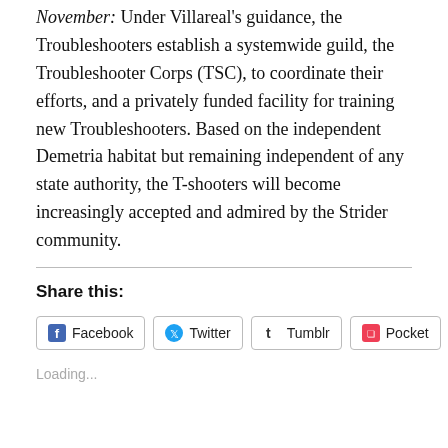November: Under Villareal's guidance, the Troubleshooters establish a systemwide guild, the Troubleshooter Corps (TSC), to coordinate their efforts, and a privately funded facility for training new Troubleshooters. Based on the independent Demetria habitat but remaining independent of any state authority, the T-shooters will become increasingly accepted and admired by the Strider community.
Share this:
Facebook | Twitter | Tumblr | Pocket | Pinterest
Loading...